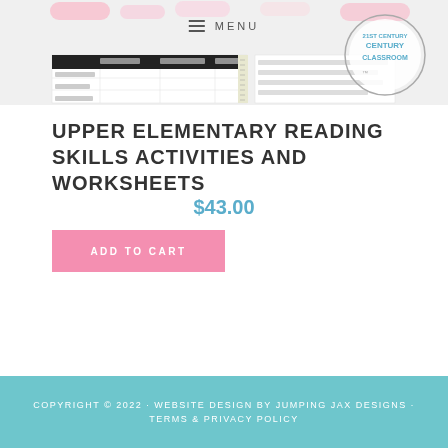[Figure (photo): Product preview images showing upper elementary reading skills worksheets and activities, with a menu bar overlay showing hamburger icon and MENU text]
UPPER ELEMENTARY READING SKILLS ACTIVITIES AND WORKSHEETS
$43.00
ADD TO CART
COPYRIGHT © 2022 · WEBSITE DESIGN BY JUMPING JAX DESIGNS · TERMS & PRIVACY POLICY